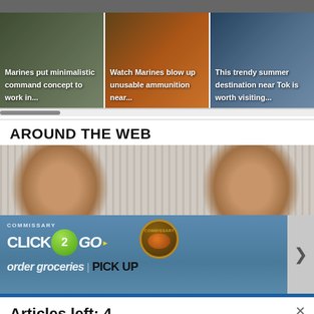[Figure (screenshot): Partial top image strip, cropped]
[Figure (photo): Three article cards with military/travel thumbnail images. Left: soldiers in field. Center: explosion/fire. Right: summer travel destination near Tokyo.]
Marines put minimalistic command concept to work in...
Watch Marines blow up unusable ammunition near...
This trendy summer destination near Tok is worth visiting...
AROUND THE WEB
[Figure (photo): Two women photographed side by side against corrugated metal background]
[Figure (advertisement): Commissary Click2Go advertisement banner with logo, Commissary badge, order groceries text and pickup text]
Articles left: 4
Subscribe to get unlimited access  Subscribe
Already have an account?  Login here